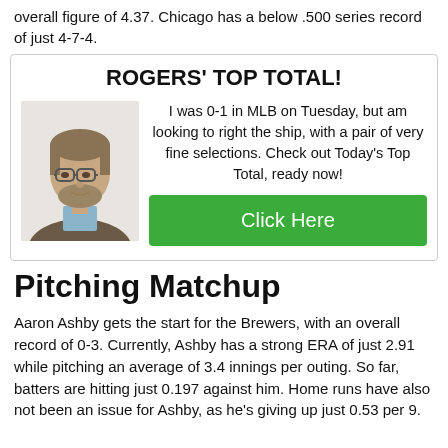overall figure of 4.37. Chicago has a below .500 series record of just 4-7-4.
[Figure (infographic): Ad box titled ROGERS' TOP TOTAL! with a photo of a man and text about MLB selections, plus a green Click Here button]
Pitching Matchup
Aaron Ashby gets the start for the Brewers, with an overall record of 0-3. Currently, Ashby has a strong ERA of just 2.91 while pitching an average of 3.4 innings per outing. So far, batters are hitting just 0.197 against him. Home runs have also not been an issue for Ashby, as he's giving up just 0.53 per 9.